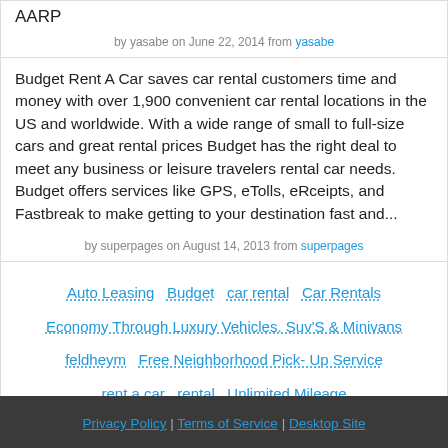AARP
by yasabe on June 22, 2014 from yasabe
Budget Rent A Car saves car rental customers time and money with over 1,900 convenient car rental locations in the US and worldwide. With a wide range of small to full-size cars and great rental prices Budget has the right deal to meet any business or leisure travelers rental car needs. Budget offers services like GPS, eTolls, eRceipts, and Fastbreak to make getting to your destination fast and...
by superpages on August 14, 2013 from superpages
Auto Leasing
Budget
car rental
Car Rentals
Economy Through Luxury Vehicles. Suv'S & Minivans
feldheym
Free Neighborhood Pick- Up Service
rent a car
rental
Unlimited Mileage
Privacy Policy | Terms of Service | Desktop Site